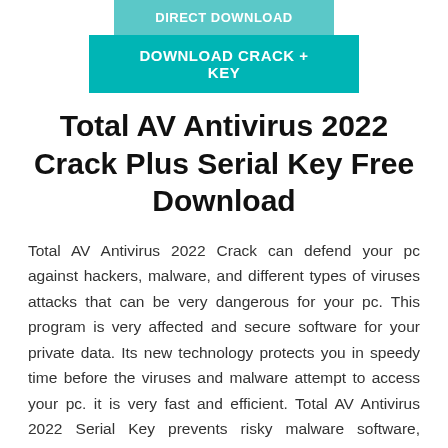[Figure (other): Teal button labeled DIRECT DOWNLOAD]
[Figure (other): Teal button labeled DOWNLOAD CRACK + KEY]
Total AV Antivirus 2022 Crack Plus Serial Key Free Download
Total AV Antivirus 2022 Crack can defend your pc against hackers, malware, and different types of viruses attacks that can be very dangerous for your pc. This program is very affected and secure software for your private data. Its new technology protects you in speedy time before the viruses and malware attempt to access your pc. it is very fast and efficient. Total AV Antivirus 2022 Serial Key prevents risky malware software, extensions, and